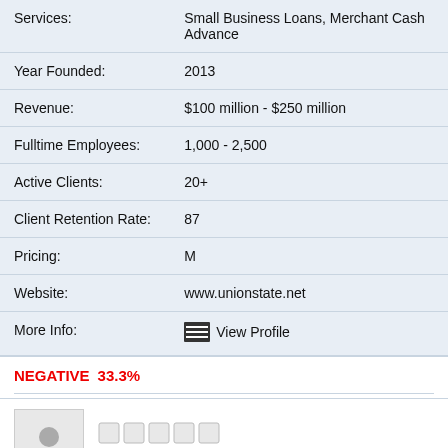| Field | Value |
| --- | --- |
| Services: | Small Business Loans, Merchant Cash Advance |
| Year Founded: | 2013 |
| Revenue: | $100 million - $250 million |
| Fulltime Employees: | 1,000 - 2,500 |
| Active Clients: | 20+ |
| Client Retention Rate: | 87 |
| Pricing: | M |
| Website: | www.unionstate.net |
| More Info: | View Profile |
NEGATIVE  33.3%
[Figure (illustration): Anonymous user avatar placeholder with silhouette of head and shoulders, grey on light grey background. Five empty star rating icons shown next to avatar.]
ANONYMOUS
Pagination dots: 3 dots, first active (blue), second and third inactive (grey)